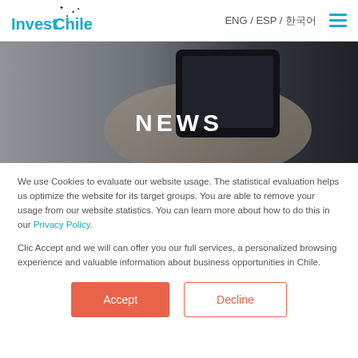InvestChile — ENG / ESP / 한국어
[Figure (photo): Hero banner showing a hand holding a smartphone, with 'NEWS' text overlay in white uppercase letters on a dark/gray background.]
We use Cookies to evaluate our website usage. The statistical evaluation helps us optimize the website for its target groups. You are able to remove your usage from our website statistics. You can learn more about how to do this in our Privacy Policy.
Clic Accept and we will can offer you our full services, a personalized browsing experience and valuable information about business opportunities in Chile.
Accept | Decline